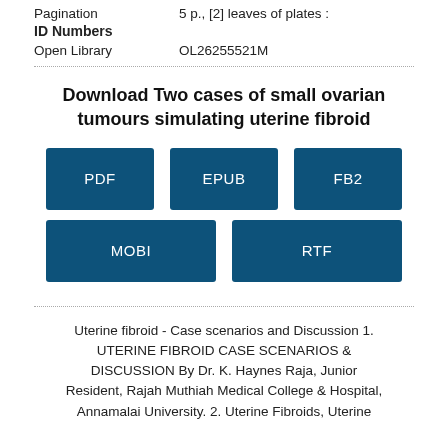Pagination    5 p., [2] leaves of plates :
ID Numbers
Open Library    OL26255521M
Download Two cases of small ovarian tumours simulating uterine fibroid
[Figure (other): Download buttons for PDF, EPUB, FB2, MOBI, RTF formats]
Uterine fibroid - Case scenarios and Discussion 1. UTERINE FIBROID CASE SCENARIOS & DISCUSSION By Dr. K. Haynes Raja, Junior Resident, Rajah Muthiah Medical College & Hospital, Annamalai University. 2. Uterine Fibroids, Uterine